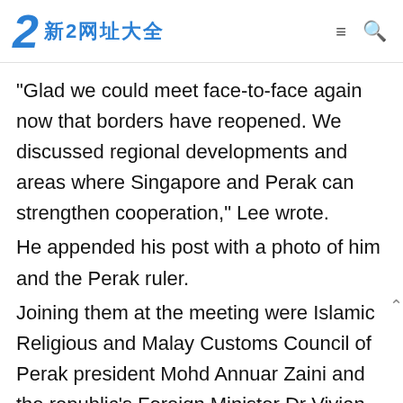新2网址大全
“Glad we could meet face-to-face again now that borders have reopened. We discussed regional developments and areas where Singapore and Perak can strengthen cooperation,” Lee wrote.
He appended his post with a photo of him and the Perak ruler.
Joining them at the meeting were Islamic Religious and Malay Customs Council of Perak president Mohd Annuar Zaini and the republic’s Foreign Minister Dr Vivian Balakrishnan.
“We last met in 2019, when Tuanku visited Singapore for the Universiti Malaya-NUS Golf Tournament,” Lee wrote.
The Singapore Foreign Ministry said Sultan Nazrin will meet